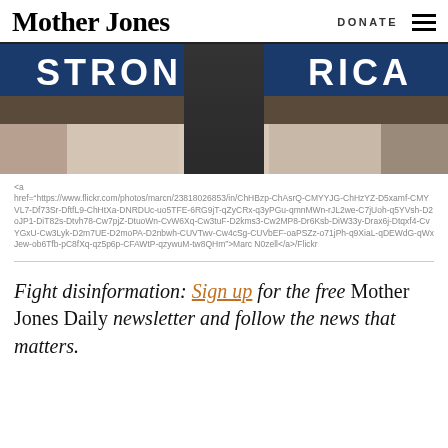Mother Jones | DONATE
[Figure (photo): Person in dark sweater standing at event with 'STRONG AMERICA' banner behind them, crowd visible in background]
<a href="https://www.flickr.com/photos/marcn/23818026853/in/ChHBzp-ChAsrQ-CMYYJG-ChHzYZ-D5xamf-CMYVL7-Df73Sr-DftfL9-ChHtXa-DNRDUc-uo5TFE-6RG9jT-qZyCRx-q3yPGu-qmnMWn-rJL2we-C7jUoh-q5YVsh-D2oJP1-DiT82s-Dtvh78-Cw7pjZ-DtuoWn-CvW6Xq-Cw3tuF-D2kms3-Cw2MP8-Dr6Ksb-DiW33y-Drax6j-Dtqxf4-CvYGxU-Cw3Lyk-D2m7UE-D2moPA-D2nbwh-CUVTwv-Cw4cSg-CUVbEF-oaPSZz-o71jPh-q9XiaL-qDEWdG-qWxJew-ob6Tfb-pC8fXq-qz5p6p-CFAWtP-qzywuM-tw8QHm">Marc N0zell</a>/Flickr
Fight disinformation: Sign up for the free Mother Jones Daily newsletter and follow the news that matters.